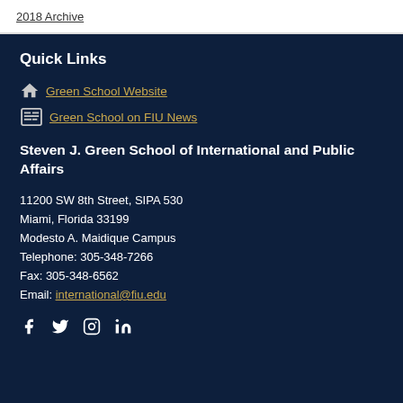2018 Archive
Quick Links
Green School Website
Green School on FIU News
Steven J. Green School of International and Public Affairs
11200 SW 8th Street, SIPA 530
Miami, Florida 33199
Modesto A. Maidique Campus
Telephone: 305-348-7266
Fax: 305-348-6562
Email: international@fiu.edu
[Figure (infographic): Social media icons: Facebook, Twitter, Instagram, LinkedIn]